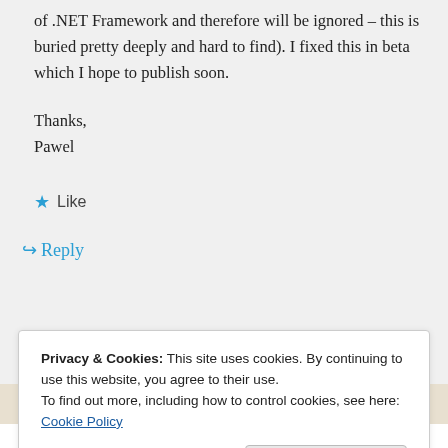of .NET Framework and therefore will be ignored – this is buried pretty deeply and hard to find). I fixed this in beta which I hope to publish soon.

Thanks,
Pawel
Like
Reply
Privacy & Cookies: This site uses cookies. By continuing to use this website, you agree to their use.
To find out more, including how to control cookies, see here: Cookie Policy
Close and accept